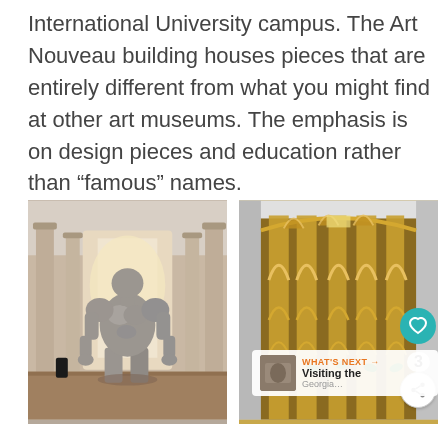International University campus. The Art Nouveau building houses pieces that are entirely different from what you might find at other art museums. The emphasis is on design pieces and education rather than “famous” names.
[Figure (photo): A large silver/grey muscular humanoid sculpture standing in the hallway of an art museum with arched colonnades in the background.]
[Figure (photo): An ornate Art Nouveau golden decorative panel or structure with elaborate floral and architectural motifs, displayed in a museum gallery.]